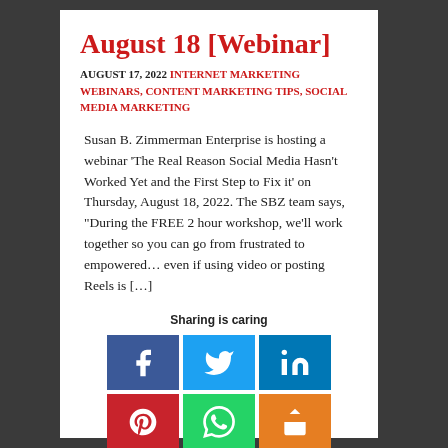August 18 [Webinar]
AUGUST 17, 2022 INTERNET MARKETING WEBINARS, CONTENT MARKETING TIPS, SOCIAL MEDIA MARKETING
Susan B. Zimmerman Enterprise is hosting a webinar 'The Real Reason Social Media Hasn’t Worked Yet and the First Step to Fix it’ on Thursday, August 18, 2022. The SBZ team says, “During the FREE 2 hour workshop, we’ll work together so you can go from frustrated to empowered… even if using video or posting Reels is […]
Sharing is caring
[Figure (infographic): Social media share buttons: Facebook, Twitter, LinkedIn, Pinterest, WhatsApp, Share]